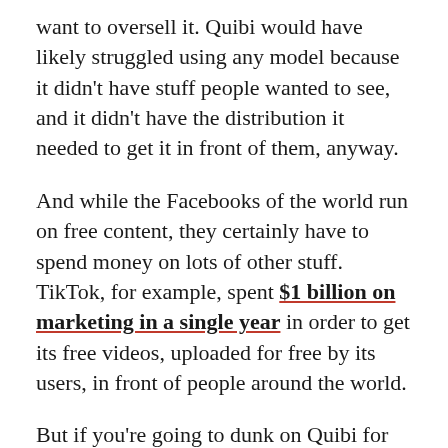want to oversell it. Quibi would have likely struggled using any model because it didn't have stuff people wanted to see, and it didn't have the distribution it needed to get it in front of them, anyway.
And while the Facebooks of the world run on free content, they certainly have to spend money on lots of other stuff. TikTok, for example, spent $1 billion on marketing in a single year in order to get its free videos, uploaded for free by its users, in front of people around the world.
But if you're going to dunk on Quibi for failing so big, so fast, at least give them this: They failed the old-fashioned way. Which still has an upside.